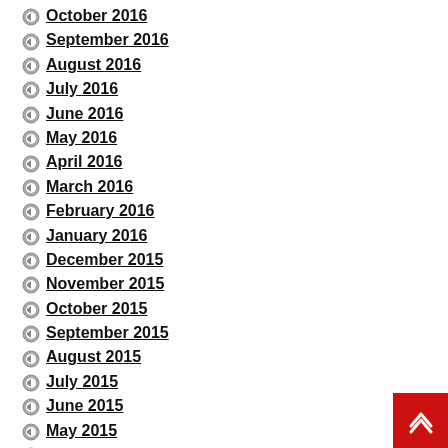October 2016
September 2016
August 2016
July 2016
June 2016
May 2016
April 2016
March 2016
February 2016
January 2016
December 2015
November 2015
October 2015
September 2015
August 2015
July 2015
June 2015
May 2015
January 2015
December 2014
November 2014